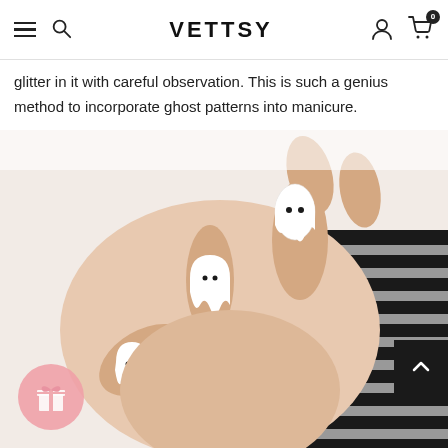VETTSY
glitter in it with careful observation. This is such a genius method to incorporate ghost patterns into manicure.
[Figure (photo): A hand wearing ghost-themed Halloween nail art with white ghost designs featuring black dot eyes on almond-shaped nails, posed against a black and white striped sleeve.]